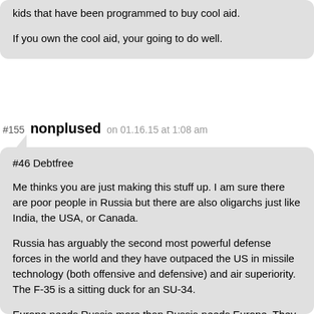kids that have been programmed to buy cool aid.

If you own the cool aid, your going to do well.
#155 nonplused on 01.16.15 at 1:08 am
#46 Debtfree

Me thinks you are just making this stuff up. I am sure there are poor people in Russia but there are also oligarchs just like India, the USA, or Canada.

Russia has arguably the second most powerful defense forces in the world and they have outpaced the US in missile technology (both offensive and defensive) and air superiority. The F-35 is a sitting duck for an SU-34.

Europe needs Russia more than Russia needs Europe. They are already signing bilateral agreements with just about everyone else including the Chinese, with whom they also have a border. And Russia has been through a collapse in recent memory, most of them have lived through it. They haven't forgotten how to live through it. Europeans think if times get